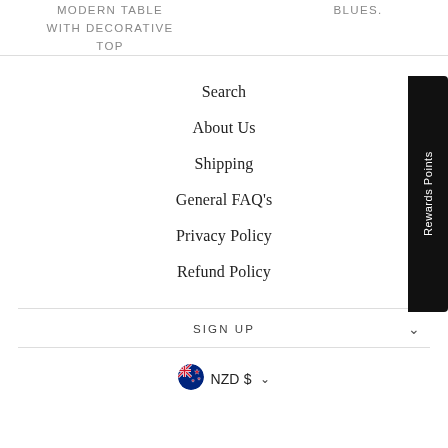MODERN TABLE WITH DECORATIVE TOP
BLUES.
Search
About Us
Shipping
General FAQ's
Privacy Policy
Refund Policy
Rewards Points
SIGN UP
NZD $